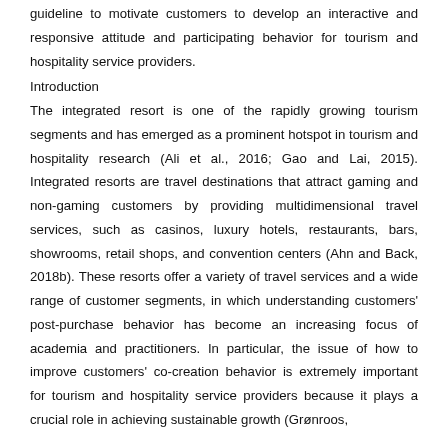guideline to motivate customers to develop an interactive and responsive attitude and participating behavior for tourism and hospitality service providers.
Introduction
The integrated resort is one of the rapidly growing tourism segments and has emerged as a prominent hotspot in tourism and hospitality research (Ali et al., 2016; Gao and Lai, 2015). Integrated resorts are travel destinations that attract gaming and non-gaming customers by providing multidimensional travel services, such as casinos, luxury hotels, restaurants, bars, showrooms, retail shops, and convention centers (Ahn and Back, 2018b). These resorts offer a variety of travel services and a wide range of customer segments, in which understanding customers' post-purchase behavior has become an increasing focus of academia and practitioners. In particular, the issue of how to improve customers' co-creation behavior is extremely important for tourism and hospitality service providers because it plays a crucial role in achieving sustainable growth (Grønroos, 2012). It also directly contributes to one of the most